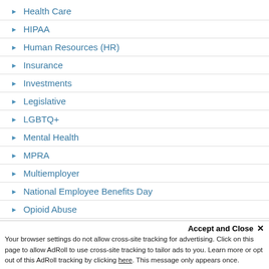Health Care
HIPAA
Human Resources (HR)
Insurance
Investments
Legislative
LGBTQ+
Mental Health
MPRA
Multiemployer
National Employee Benefits Day
Opioid Abuse
Paid Leave
Accept and Close ✕
Your browser settings do not allow cross-site tracking for advertising. Click on this page to allow AdRoll to use cross-site tracking to tailor ads to you. Learn more or opt out of this AdRoll tracking by clicking here. This message only appears once.